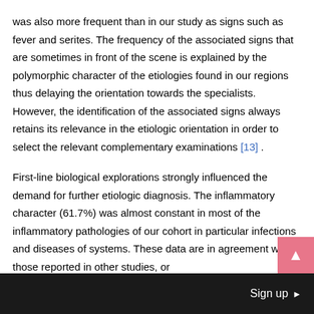was also more frequent than in our study as signs such as fever and serites. The frequency of the associated signs that are sometimes in front of the scene is explained by the polymorphic character of the etiologies found in our regions thus delaying the orientation towards the specialists. However, the identification of the associated signs always retains its relevance in the etiologic orientation in order to select the relevant complementary examinations [13] .
First-line biological explorations strongly influenced the demand for further etiologic diagnosis. The inflammatory character (61.7%) was almost constant in most of the inflammatory pathologies of our cohort in particular infections and diseases of systems. These data are in agreement with those reported in other studies, or
Sign up